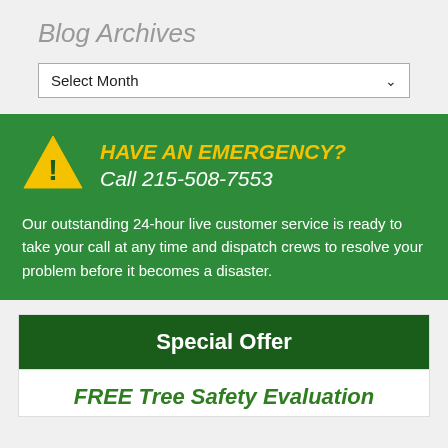Blog Archives
[Figure (screenshot): Dropdown select widget with 'Select Month' label and chevron arrow]
HAVE AN EMERGENCY?
Call 215-508-7553
Our outstanding 24-hour live customer service is ready to take your call at any time and dispatch crews to resolve your problem before it becomes a disaster.
Special Offer
FREE Tree Safety Evaluation